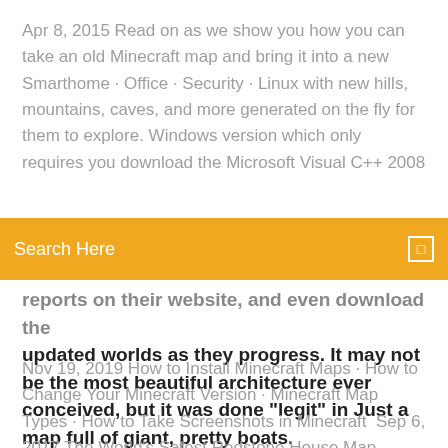Apr 8, 2015 Read on as we show you how you can take an old Minecraft map and bring it into a new Smarthome · Office · Security · Linux with new hills, mountains, caves, and more generated on the fly for them to explore. Windows version which only requires you download the Microsoft Visual C++ 2008
Search Here
reports on their website, and even download the updated worlds as they progress. It may not be the most beautiful architecture ever conceived, but it was done "legit" in Just a map full of giant, pretty boats.
Nov 19, 2019 How to Install Minecraft Maps · How to Change Your Minecraft Version · Minecraft Map Types · How to Take Screenshots in Minecraft  Sep 6, 2017 The World's Safest Redstone House Map 1.12.2/1.11.2 for Minecraft is a building map Download the map from the link below and try it out. Mar 6, 2017 The Most Secure Door [Redstone]. by Editor This is one of